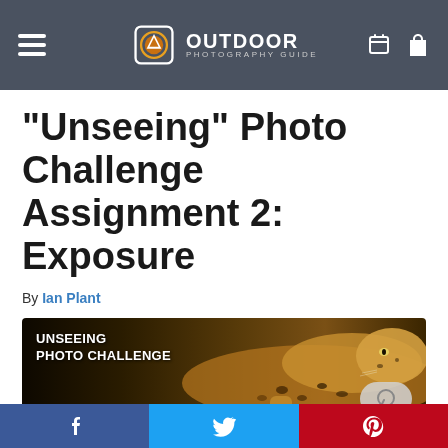Outdoor Photography Guide navigation bar with hamburger menu, logo, and icons
“Unseeing” Photo Challenge Assignment 2: Exposure
By Ian Plant
[Figure (photo): Banner image with dark background showing a leopard resting, overlaid with text 'UNSEEING PHOTO CHALLENGE' and a chat bubble icon]
Social share bar: Facebook, Twitter, Pinterest